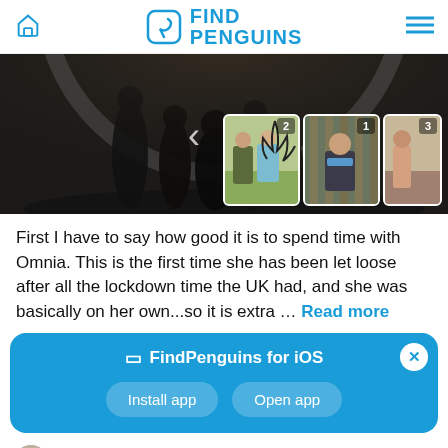FindPenguins — home icon, logo, menu
[Figure (photo): Dark silhouette photo of people looking through a large clock face window, with thumbnail images overlay on the right showing two people outdoors and a person indoors, numbered 2, 1, 3]
First I have to say how good it is to spend time with Omnia. This is the first time she has been let loose after all the lockdown time the UK had, and she was basically on her own...so it is extra … Read more
[Figure (infographic): Blue promotional banner: FindPenguins for iOS, with Install app and Open app buttons, and a close (X) button]
Samantha Gillett A lovely photo of the TWO of